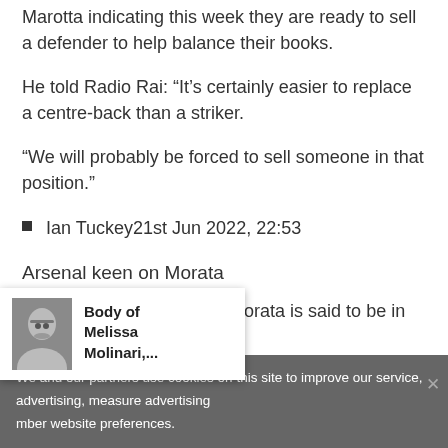Marotta indicating this week they are ready to sell a defender to help balance their books.
He told Radio Rai: “It’s certainly easier to replace a centre-back than a striker.
“We will probably be forced to sell someone in that position.”
Ian Tuckey21st Jun 2022, 22:53
Arsenal keen on Morata
Ex-Chelsea striker Alvaro Morata is said to be in
We and our partners use cookies on this site to improve our service, advertising, measure advertising mber website preferences.
[Figure (photo): Thumbnail photo of a woman with glasses, associated with notification popup about Body of Melissa Molinari,...]